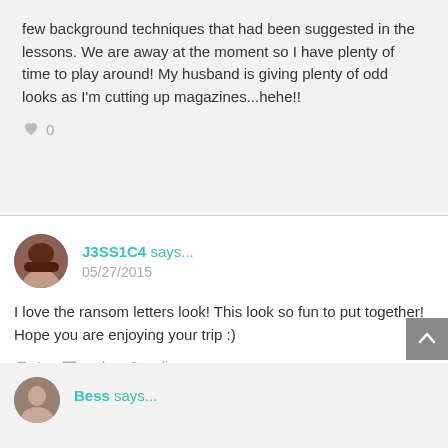few background techniques that had been suggested in the lessons. We are away at the moment so I have plenty of time to play around! My husband is giving plenty of odd looks as I'm cutting up magazines...hehe!!
♥ 0
J3SS1C4 says... 05/27/2015
I love the ransom letters look! This look so fun to put together! Hope you are enjoying your trip :)
♥ 1  reply  2 replies
Bess says...